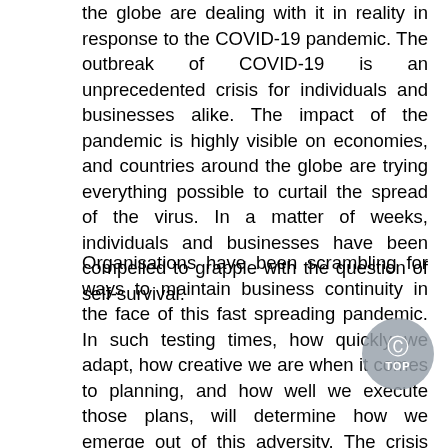the globe are dealing with it in reality in response to the COVID-19 pandemic. The outbreak of COVID-19 is an unprecedented crisis for individuals and businesses alike. The impact of the pandemic is highly visible on economies, and countries around the globe are trying everything possible to curtail the spread of the virus. In a matter of weeks, individuals and businesses have been compelled to grapple with the question of self-survival.
Organisations have been scrambling for ways to maintain business continuity in the face of this fast spreading pandemic. In such testing times, how quickly we adapt, how creative we are when it comes to planning, and how well we execute those plans, will determine how we emerge out of this adversity. The crisis has created an imbalance in the socioeconomic wellbeing of people. People are forced to rethink about their career plans, financial goals and other commitments as the impact is proving to be huge.